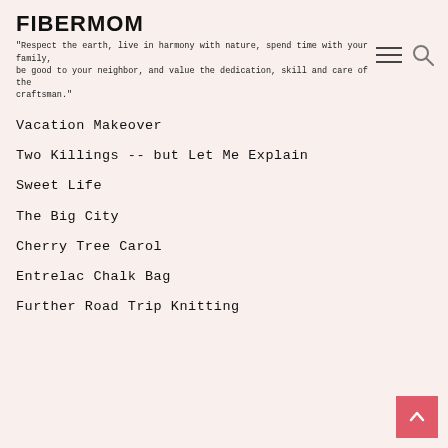FIBERMOM
"Respect the earth, live in harmony with nature, spend time with your family, be good to your neighbor, and value the dedication, skill and care of the craftsman."
[Figure (other): Navigation icons: hamburger menu and search icon]
Vacation Makeover
Two Killings -- but Let Me Explain
Sweet Life
The Big City
Cherry Tree Carol
Entrelac Chalk Bag
Further Road Trip Knitting